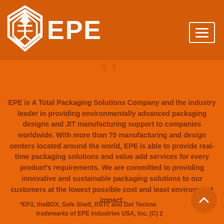[Figure (logo): EPE company logo — diamond/arrow shield icon in white with EPE text]
EPE is A Total Packaging Solutions Company and the industry leader in providing environmentally advanced packaging designs and JIT manufacturing support to companies worldwide. With more than 70 manufacturing and design centers located around the world, EPE is able to provide real-time packaging solutions and value add services for every product's requirements. We are committed to providing innovative and sustainable packaging solutions to our customers at the lowest possible cost and least environment impact.
*EP3, theBOX, Safe Shelf, RSTI, and Dot Technology are trademarks of EPE Industries USA, Inc. (C) 2